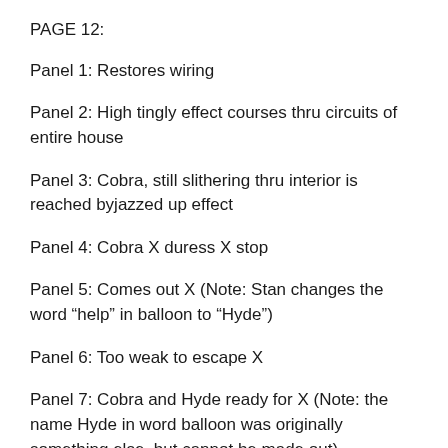PAGE 12:
Panel 1: Restores wiring
Panel 2: High tingly effect courses thru circuits of entire house
Panel 3: Cobra, still slithering thru interior is reached byjazzed up effect
Panel 4: Cobra X duress X stop
Panel 5: Comes out X (Note: Stan changes the word “help” in balloon to “Hyde”)
Panel 6: Too weak to escape X
Panel 7: Cobra and Hyde ready for X (Note: the name Hyde in word balloon was originally something else, but cannot be made out)